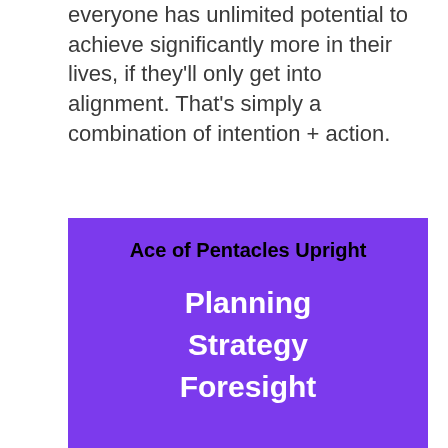everyone has unlimited potential to achieve significantly more in their lives, if they'll only get into alignment. That's simply a combination of intention + action.
[Figure (infographic): Purple box titled 'Ace of Pentacles Upright' with white bold keywords: Planning, Strategy, Foresight]